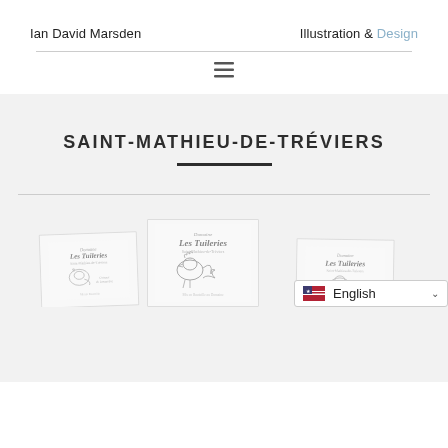Ian David Marsden    Illustration & Design
SAINT-MATHIEU-DE-TRÉVIERS
[Figure (illustration): Three overlapping wine label sketches for 'Domaine Les Tuileries', shown as partially visible white cards fanned out, with decorative rooster/bird illustration in pencil/grey style.]
English